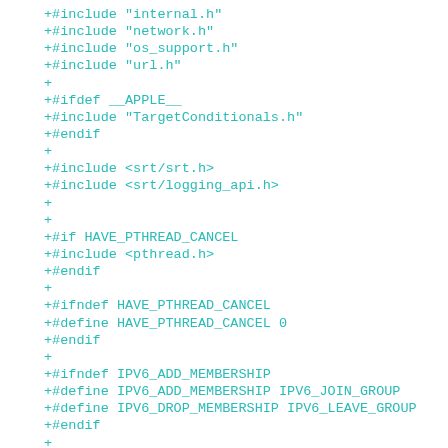+#include "internal.h"
+#include "network.h"
+#include "os_support.h"
+#include "url.h"
+
+#ifdef __APPLE__
+#include "TargetConditionals.h"
+#endif
+
+#include <srt/srt.h>
+#include <srt/logging_api.h>
+
+
+#if HAVE_PTHREAD_CANCEL
+#include <pthread.h>
+#endif
+
+#ifndef HAVE_PTHREAD_CANCEL
+#define HAVE_PTHREAD_CANCEL 0
+#endif
+
+#ifndef IPV6_ADD_MEMBERSHIP
+#define IPV6_ADD_MEMBERSHIP IPV6_JOIN_GROUP
+#define IPV6_DROP_MEMBERSHIP IPV6_LEAVE_GROUP
+#endif
+
+#define UDP_TX_BUF_SIZE 32768
+#define UDP_MAX_PKT_SIZE 65536
+#define UDP_HEADER_SIZE 8
+
+typedef struct SRTContext {
+   const AVClass *class;